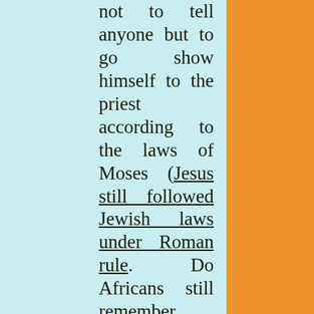not to tell anyone but to go show himself to the priest according to the laws of Moses (Jesus still followed Jewish laws under Roman rule. Do Africans still remember their ways like Jesus did?) A centurion (commander of 100 soldiers) wanted Jesus to heal his servant (master cares for servant), but to say the word rather than come to his house. Jesus was so impressed with his faith that he declared publicly that he has never